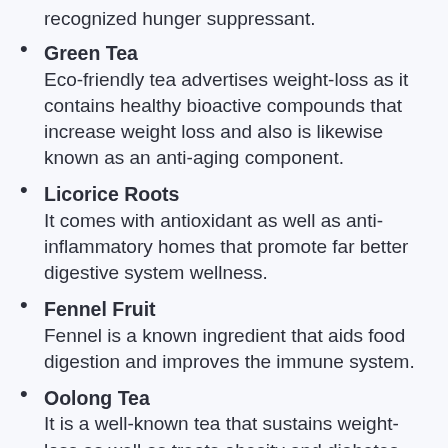recognized hunger suppressant.
Green Tea
Eco-friendly tea advertises weight-loss as it contains healthy bioactive compounds that increase weight loss and also is likewise known as an anti-aging component.
Licorice Roots
It comes with antioxidant as well as anti-inflammatory homes that promote far better digestive system wellness.
Fennel Fruit
Fennel is a known ingredient that aids food digestion and improves the immune system.
Oolong Tea
It is a well-known tea that sustains weight-loss as well as treats obesity and diabetes. This tea originated from China that promotes